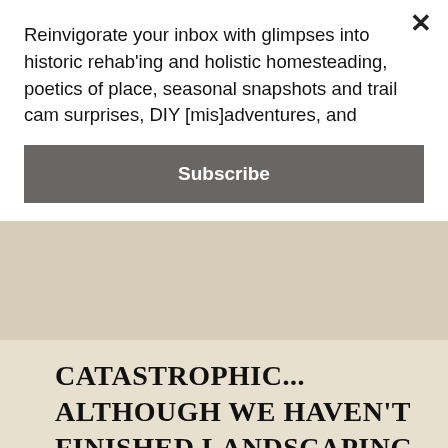Reinvigorate your inbox with glimpses into historic rehab'ing and holistic homesteading, poetics of place, seasonal snapshots and trail cam surprises, DIY [mis]adventures, and
Subscribe
CATASTROPHIC... ALTHOUGH WE HAVEN'T FINISHED LANDSCAPING THE ENTIRE WATERFRONT, ROUGHLY A THIRD (ABOUT 80') LOOKED GREAT UP UNTIL A FEW DAYS AGO. WE'VE REBUILT THE STONE WALLS AND PLANTED A LAWN ON THE TERRACE ABOVE THE BEACH. THE REAR